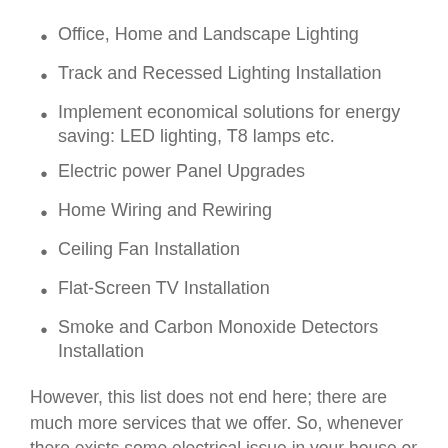Office, Home and Landscape Lighting
Track and Recessed Lighting Installation
Implement economical solutions for energy saving: LED lighting, T8 lamps etc.
Electric power Panel Upgrades
Home Wiring and Rewiring
Ceiling Fan Installation
Flat-Screen TV Installation
Smoke and Carbon Monoxide Detectors Installation
However, this list does not end here; there are much more services that we offer. So, whenever there exists some electrical issue in your house or office or you want to install a new electrical item, remember, we are just a